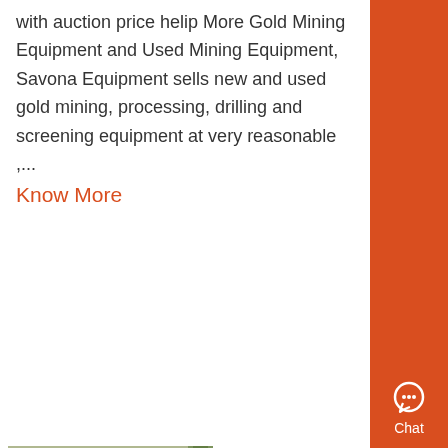with auction price helip More Gold Mining Equipment and Used Mining Equipment, Savona Equipment sells new and used gold mining, processing, drilling and screening equipment at very reasonable ,...
Know More
ding milling equipment price
[Figure (photo): Industrial mining/grinding equipment outdoors, showing large machinery with mechanical components.]
om Jiangxi Hengchang Mining Manufacturing Co Ltd g Ball Mill For Gold Ore Grinding d Machine 2100000 Set 1 Set China Factory Small Gold Refining Equipment Gold Production Line Processing Machine Price 650000 Set 1 Set Read More Get Price Mineral Grinding Mill Machine